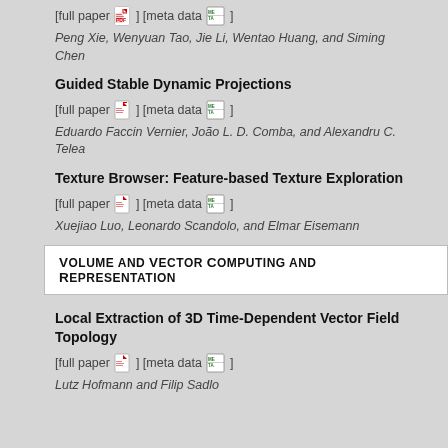[full paper] [meta data]
Peng Xie, Wenyuan Tao, Jie Li, Wentao Huang, and Siming Chen
Guided Stable Dynamic Projections
[full paper] [meta data]
Eduardo Faccin Vernier, João L. D. Comba, and Alexandru C. Telea
Texture Browser: Feature-based Texture Exploration
[full paper] [meta data]
Xuejiao Luo, Leonardo Scandolo, and Elmar Eisemann
Volume and Vector Computing and Representation
Local Extraction of 3D Time-Dependent Vector Field Topology
[full paper] [meta data]
Lutz Hofmann and Filip Sadlo